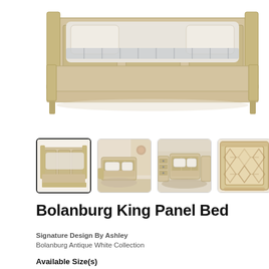[Figure (photo): Main product photo of Bolanburg King Panel Bed in antique white/light wood finish, showing headboard, footboard and side rails with bedding]
[Figure (photo): Thumbnail row of 4 product photos: front view of bed alone, full bedroom set view, room scene with bedroom set, and close-up of headboard panel detail. Plus right arrow navigation button.]
Bolanburg King Panel Bed
Signature Design By Ashley
Bolanburg Antique White Collection
Available Size(s)